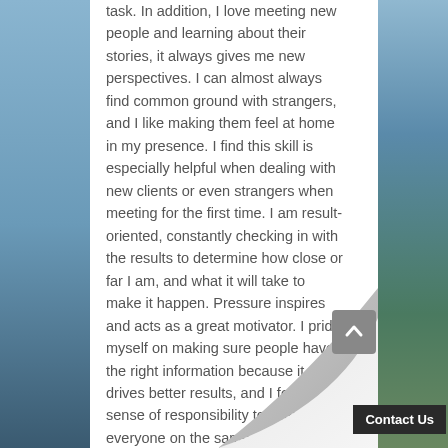task. In addition, I love meeting new people and learning about their stories, it always gives me new perspectives. I can almost always find common ground with strangers, and I like making them feel at home in my presence. I find this skill is especially helpful when dealing with new clients or even strangers when meeting for the first time. I am result-oriented, constantly checking in with the results to determine how close or far I am, and what it will take to make it happen. Pressure inspires and acts as a great motivator. I pride myself on making sure people have the right information because it drives better results, and I feel a sense of responsibility to keep everyone on the same page when it comes to work-related matters. I would describe my personality as a little of everything. Likewise, I am creative, adventurous, driven, curious, enthusiastic, observant, positive, and self aware. This is what makes me easy to with and makes the people who surrou